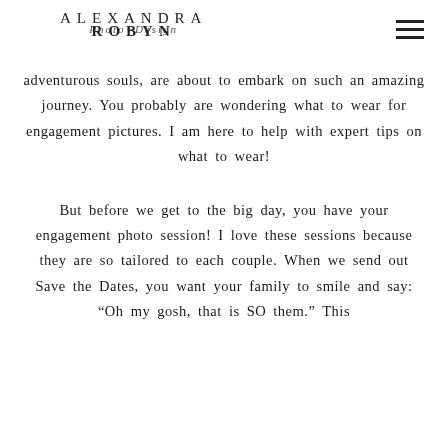ALEXANDRA Photo+Design ROBYN
adventurous souls, are about to embark on such an amazing journey. You probably are wondering what to wear for engagement pictures. I am here to help with expert tips on what to wear!
But before we get to the big day, you have your engagement photo session! I love these sessions because they are so tailored to each couple. When we send out Save the Dates, you want your family to smile and say: “Oh my gosh, that is SO them.” This